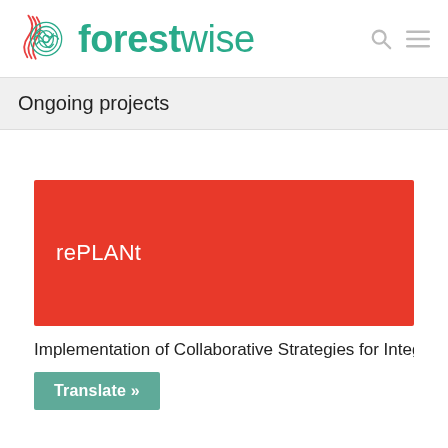[Figure (logo): Forestwise logo: circular tree-ring/wave pattern in green and red, beside the text 'forestwise' in teal/green]
Ongoing projects
rePLANt
Implementation of Collaborative Strategies for Integr
Translate »